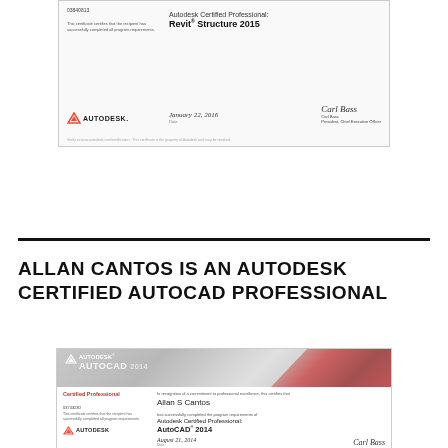[Figure (photo): Autodesk Certified Professional certificate for Revit Structure 2015 with Autodesk logo, date January 22, 2016, and signature of Carl Bass, President, Chief Executive Officer]
ALLAN CANTOS IS AN AUTODESK CERTIFIED AUTOCAD PROFESSIONAL
[Figure (photo): Autodesk AutoCAD 2014 Certified Professional certificate with AutoCAD 2014 header image, Certified Professional label in red, recipient Allan S Cantos, Autodesk logo, date August 21, 2014, and signature of Carl Bass]